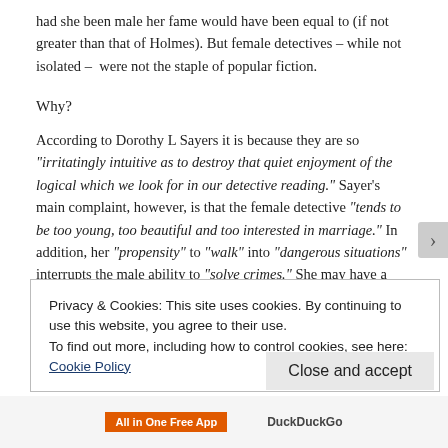had she been male her fame would have been equal to (if not greater than that of Holmes). But female detectives – while not isolated –  were not the staple of popular fiction.
Why?
According to Dorothy L Sayers it is because they are so "irritatingly intuitive as to destroy that quiet enjoyment of the logical which we look for in our detective reading." Sayer's  main complaint, however, is that the female detective "tends to be too young, too beautiful and too interested in marriage." In addition, her "propensity" to "walk" into "dangerous situations" interrupts the male ability to "solve crimes." She may have a point: until Marple – female detectives were 40 or younger. Mrs Paschell who works for Colonel Warner is 40 and in
Privacy & Cookies: This site uses cookies. By continuing to use this website, you agree to their use.
To find out more, including how to control cookies, see here: Cookie Policy
Close and accept